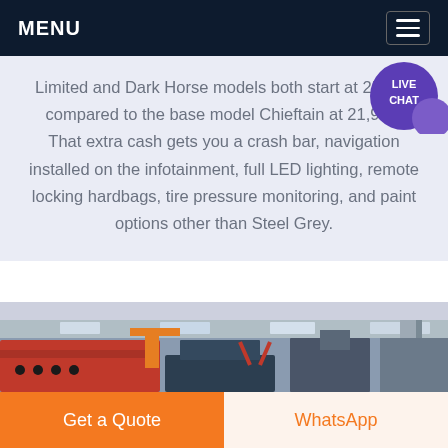MENU
Limited and Dark Horse models both start at 25,999 compared to the base model Chieftain at 21,999. That extra cash gets you a crash bar, navigation installed on the infotainment, full LED lighting, remote locking hardbags, tire pressure monitoring, and paint options other than Steel Grey.
[Figure (photo): Industrial workshop/factory interior showing red machinery parts, orange crane structure, and metal equipment in a large facility with skylights.]
Get a Quote
WhatsApp